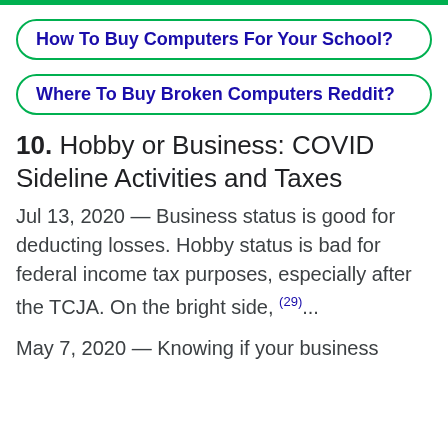How To Buy Computers For Your School?
Where To Buy Broken Computers Reddit?
10. Hobby or Business: COVID Sideline Activities and Taxes
Jul 13, 2020 — Business status is good for deducting losses. Hobby status is bad for federal income tax purposes, especially after the TCJA. On the bright side, (29)...
May 7, 2020 — Knowing if your business